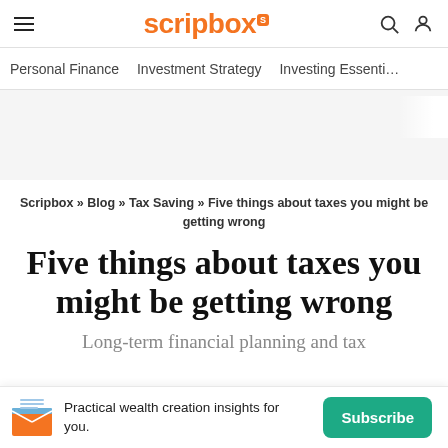scripbox [S]
Personal Finance   Investment Strategy   Investing Essenti…
Scripbox » Blog » Tax Saving » Five things about taxes you might be getting wrong
Five things about taxes you might be getting wrong
Long-term financial planning and tax
Practical wealth creation insights for you.  [Subscribe]